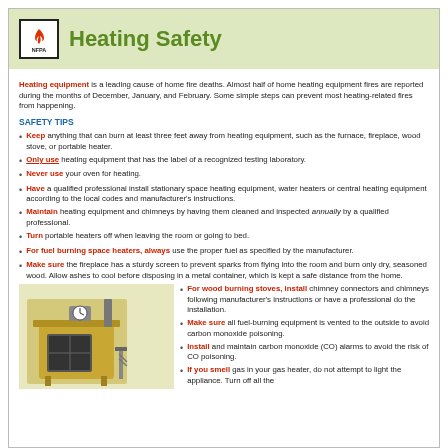[Figure (logo): NFPA logo: square border with flame icon and NFPA text below]
Heating Safety
Heating equipment is a leading cause of home fire deaths. Almost half of home heating equipment fires are reported during the months of December, January, and February. Some simple steps can prevent most heating-related fires from happening.
SAFETY TIPS
Keep anything that can burn at least three feet away from heating equipment, such as the furnace, fireplace, wood stove, or portable heater.
Only use heating equipment that has the label of a recognized testing laboratory.
Never use your oven for heating.
Have a qualified professional install stationary space heating equipment, water heaters or central heating equipment according to the local codes and manufacturer's instructions.
Maintain heating equipment and chimneys by having them cleaned and inspected annually by a qualified professional.
Turn portable heaters off when leaving the room or going to bed.
For fuel burning space heaters, always use the proper fuel as specified by the manufacturer.
Make sure the fireplace has a sturdy screen to prevent sparks from flying into the room and burn only dry, seasoned wood. Allow ashes to cool before disposing in a metal container, which is kept a safe distance from the home.
[Figure (illustration): Illustration of a wood-burning stove/fireplace with a clock on the mantle]
For wood burning stoves, install chimney connectors and chimneys following manufacturer's instructions or have a professional do the installation.
Make sure all fuel-burning equipment is vented to the outside to avoid carbon monoxide poisoning.
Install and maintain carbon monoxide (CO) alarms to avoid the risk of CO poisoning.
If you smell gas in your gas heater, do not attempt to light the appliance. Turn off all the